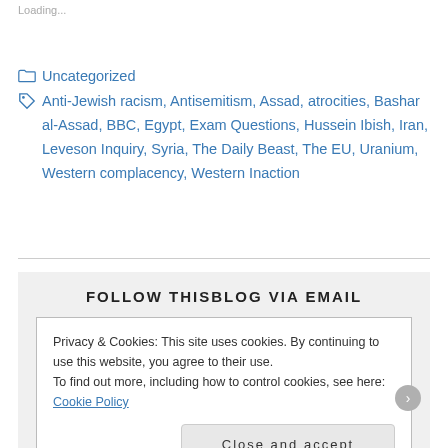Loading...
Uncategorized
Anti-Jewish racism, Antisemitism, Assad, atrocities, Bashar al-Assad, BBC, Egypt, Exam Questions, Hussein Ibish, Iran, Leveson Inquiry, Syria, The Daily Beast, The EU, Uranium, Western complacency, Western Inaction
FOLLOW THISBLOG VIA EMAIL
Privacy & Cookies: This site uses cookies. By continuing to use this website, you agree to their use.
To find out more, including how to control cookies, see here: Cookie Policy
Close and accept